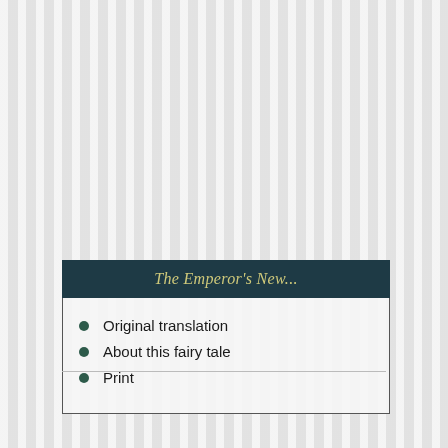[Figure (illustration): Background image of birch or aspen tree trunks with vertical stripe texture in light grey tones]
The Emperor's New...
Original translation
About this fairy tale
Print